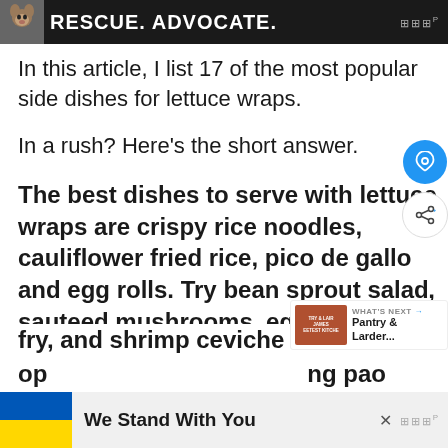[Figure (other): Advertisement banner at top: dark background with dog image, text 'RESCUE. ADVOCATE.' in white bold caps, and logo mark in top right]
In this article, I list 17 of the most popular side dishes for lettuce wraps.
In a rush? Here's the short answer.
The best dishes to serve with lettuce wraps are crispy rice noodles, cauliflower fried rice, pico de gallo and egg rolls. Try bean sprout salad, sauteed mushrooms, eggpla[nt stir] fry, and shrimp ceviche for healthier op[tions...]
[Figure (other): Bottom advertisement banner: Ukraine flag colors (blue and yellow), text 'We Stand With You', close button X, and logo mark]
op[tions ...] ng pao [ch...]